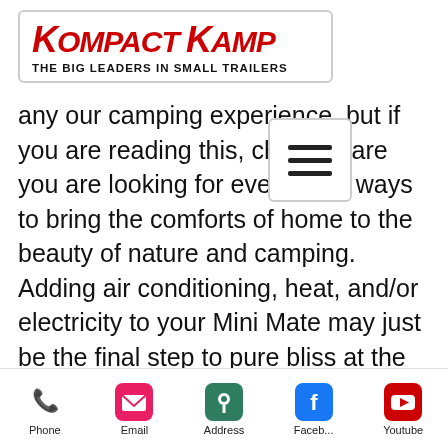[Figure (logo): Kompact Kamp logo — 'THE BIG LEADERS IN SMALL TRAILERS']
...any ...our camping experience, but if you are reading this, chances are you are looking for even more ways to bring the comforts of home to the beauty of nature and camping. Adding air conditioning, heat, and/or electricity to your Mini Mate may just be the final step to pure bliss at the campground! This article will explain how to make those additions a reality. Let's check them out!
[Figure (other): Hamburger menu icon (three horizontal lines)]
Electric
Phone   Email   Address   Faceb...   Youtube